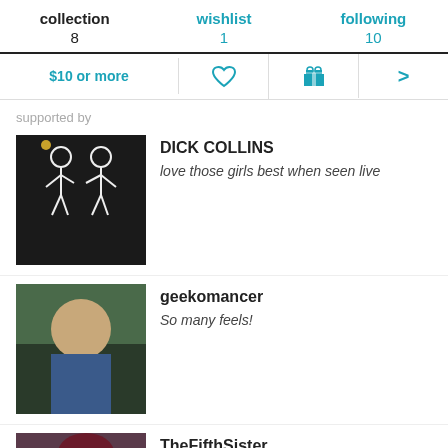collection 8 | wishlist 1 | following 10
$10 or more
supported by
DICK COLLINS
love those girls best when seen live
geekomancer
So many feels!
TheFifthSister
The Doubleclicks are the band the world needs right now. This album has so much feeling and so much talent. They've really made magic here
Favorite track: Lord of the Rings.
randyheath
One of those tracks that I hit the Replay button on over